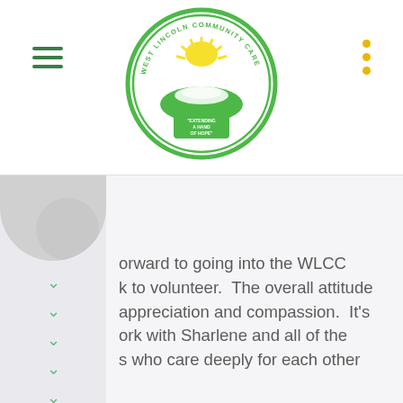[Figure (logo): West Lincoln Community Care circular logo with hand and sunshine graphic, green and yellow colors, text 'Extending a Hand of Hope']
orward to going into the WLCC k to volunteer. The overall attitude appreciation and compassion. It's ork with Sharlene and all of the s who care deeply for each other